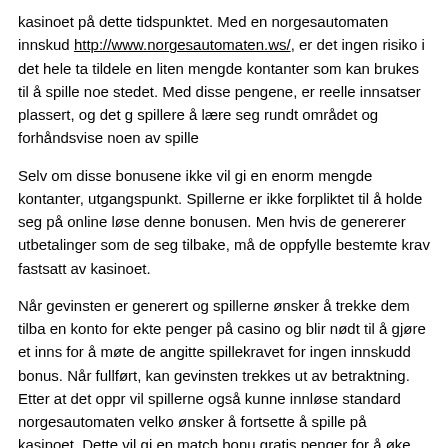kasinoet på dette tidspunktet. Med en norgesautomaten innskud http://www.norgesautomaten.ws/, er det ingen risiko i det hele ta tildele en liten mengde kontanter som kan brukes til å spille noe stedet. Med disse pengene, er reelle innsatser plassert, og det g spillere å lære seg rundt området og forhåndsvise noen av spille
Selv om disse bonusene ikke vil gi en enorm mengde kontanter, utgangspunkt. Spillerne er ikke forpliktet til å holde seg på online løse denne bonusen. Men hvis de genererer utbetalinger som de seg tilbake, må de oppfylle bestemte krav fastsatt av kasinoet.
Når gevinsten er generert og spillerne ønsker å trekke dem tilba en konto for ekte penger på casino og blir nødt til å gjøre et inns for å møte de angitte spillekravet for ingen innskudd bonus. Når fullført, kan gevinsten trekkes ut av betraktning. Etter at det oppr vil spillerne også kunne innløse standard norgesautomaten velko ønsker å fortsette å spille på kasinoet. Dette vil gi en match bonu gratis penger for å øke driftsbalansen og gi tilgang til enda flere a penger spill som støttes.
Posted in Uncategorized